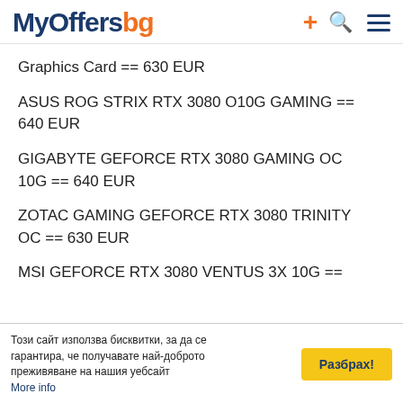MyOffers.bg
Graphics Card == 630 EUR
ASUS ROG STRIX RTX 3080 O10G GAMING == 640 EUR
GIGABYTE GEFORCE RTX 3080 GAMING OC 10G == 640 EUR
ZOTAC GAMING GEFORCE RTX 3080 TRINITY OC == 630 EUR
MSI GEFORCE RTX 3080 VENTUS 3X 10G ==
Този сайт използва бисквитки, за да се гарантира, че получавате най-доброто преживяване на нашия уебсайт More info Разбрах!